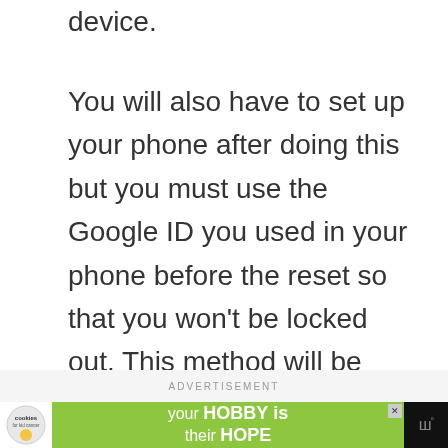device.
You will also have to set up your phone after doing this but you must use the Google ID you used in your phone before the reset so that you won’t be locked out. This method will be useful if your device cannot properly boot up into the Home screen.
ADVERTISEMENT
[Figure (infographic): Advertisement banner: cookies for kid cancer logo on white background, green section with text 'your HOBBY is their HOPE', close button, and watermark icon on dark background]